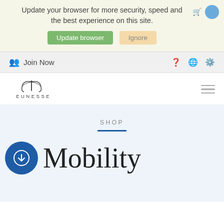Update your browser for more security, speed and the best experience on this site.
Update browser   Ignore
Join Now
[Figure (logo): Jeunesse logo with stylized flame/leaf icon above the text JEUNESSE]
SHOP
Mobility